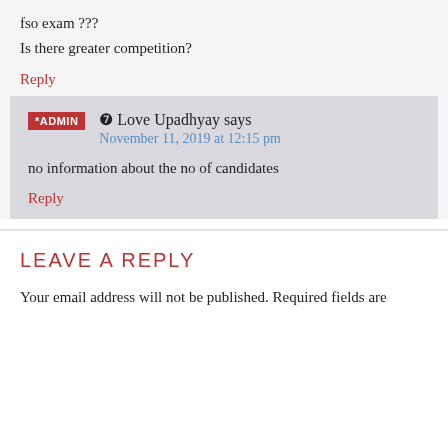fso exam ???
Is there greater competition?
Reply
❼ Love Upadhyay says
November 11, 2019 at 12:15 pm
no information about the no of candidates
Reply
LEAVE A REPLY
Your email address will not be published. Required fields are